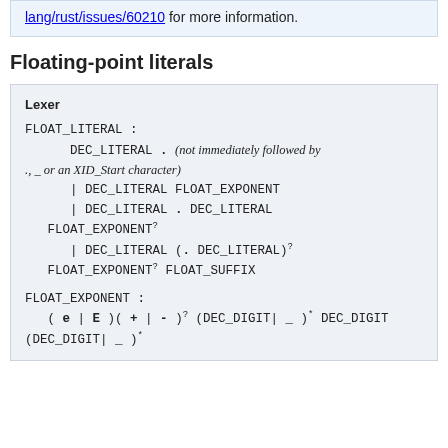lang/rust/issues/60210 for more information.
Floating-point literals
Lexer

FLOAT_LITERAL :
   DEC_LITERAL . (not immediately followed by ., _ or an XID_Start character)
   | DEC_LITERAL FLOAT_EXPONENT
   | DEC_LITERAL . DEC_LITERAL
   FLOAT_EXPONENT? | DEC_LITERAL (. DEC_LITERAL)?
   FLOAT_EXPONENT? FLOAT_SUFFIX

FLOAT_EXPONENT :
   (e | E)(+ | -)? (DEC_DIGIT | _)* DEC_DIGIT
   (DEC_DIGIT | _)*